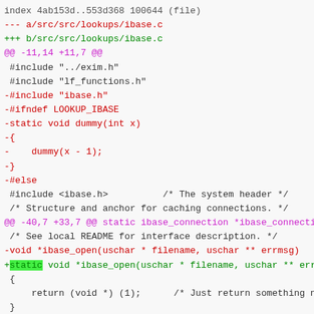[Figure (screenshot): A unified diff / code patch view showing changes to src/src/lookups/ibase.c. The diff includes hunk headers in magenta/purple, removed lines in red, added lines in green, and context lines in dark/grey. A green highlight is shown on the word 'static' in the '+static' line near the bottom.]